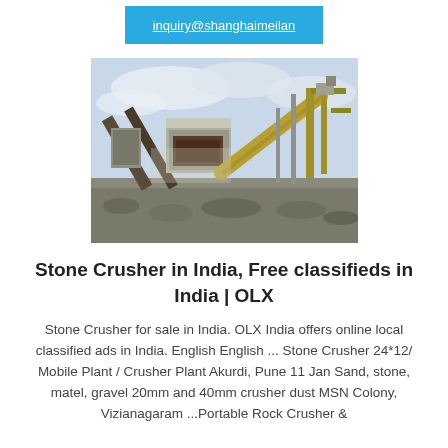inquiry@shanghaimeilan
[Figure (photo): Industrial stone crusher plant with conveyor belts and machinery outdoors, gravel/stone piles visible.]
Stone Crusher in India, Free classifieds in India | OLX
Stone Crusher for sale in India. OLX India offers online local classified ads in India. English English ... Stone Crusher 24*12/ Mobile Plant / Crusher Plant Akurdi, Pune 11 Jan Sand, stone, matel, gravel 20mm and 40mm crusher dust MSN Colony, Vizianagaram ...Portable Rock Crusher &